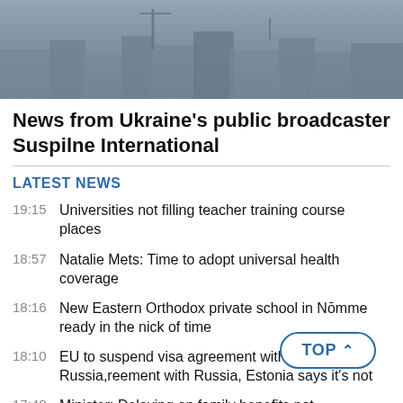[Figure (photo): Aerial/cityscape photo of an urban area under grey overcast sky, likely a Ukrainian city]
News from Ukraine's public broadcaster Suspilne International
LATEST NEWS
19:15  Universities not filling teacher training course places
18:57  Natalie Mets: Time to adopt universal health coverage
18:16  New Eastern Orthodox private school in Nōmme ready in the nick of time
18:10  EU to suspend visa agreement with Russia, Estonia says it's not
17:48  Minister: Delaying on family benefits not